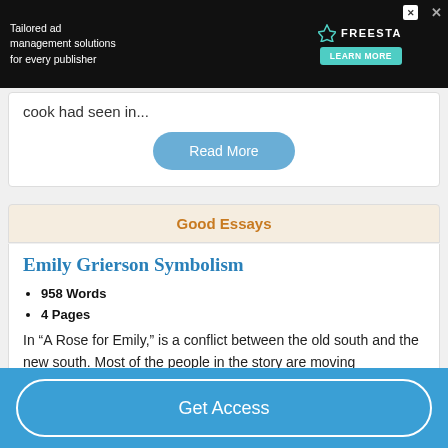[Figure (screenshot): Advertisement banner: Tailored ad management solutions for every publisher. FREESTA logo with LEARN MORE button.]
cook had seen in...
Read More
Good Essays
Emily Grierson Symbolism
958 Words
4 Pages
In “A Rose for Emily,” is a conflict between the old south and the new south. Most of the people in the story are moving
Get Access